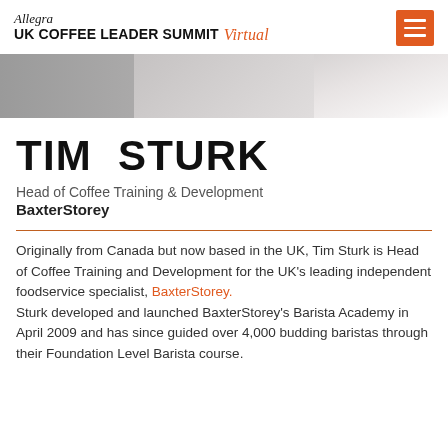Allegra UK COFFEE LEADER SUMMIT Virtual
[Figure (photo): Partial photo of a person in a white shirt, cropped to show shoulders and lower face area]
TIM STURK
Head of Coffee Training & Development
BaxterStorey
Originally from Canada but now based in the UK, Tim Sturk is Head of Coffee Training and Development for the UK's leading independent foodservice specialist, BaxterStorey. Sturk developed and launched BaxterStorey's Barista Academy in April 2009 and has since guided over 4,000 budding baristas through their Foundation Level Barista course.